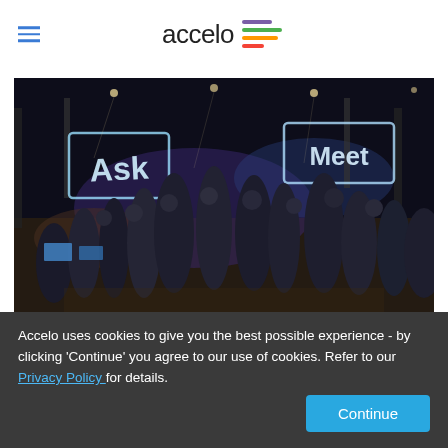[Figure (logo): Accelo logo with hamburger menu icon on the left. Logo shows 'accelo' text with colorful horizontal lines icon (purple, green, orange, red) to the right.]
[Figure (photo): Wide-angle photo of a large conference or networking event with many attendees in a dark venue. Neon signs visible including 'Ask' and 'Meet'. People are mingling throughout the space.]
What's Around the Corner for Accountants in 2018?
Accelo uses cookies to give you the best possible experience - by clicking 'Continue' you agree to our use of cookies. Refer to our Privacy Policy for details.